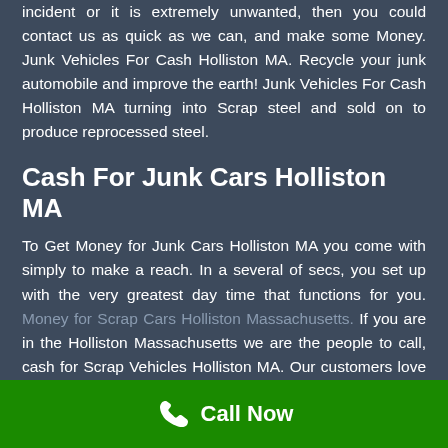incident or it is extremely unwanted, then you could contact us as quick as we can, and make some Money. Junk Vehicles For Cash Holliston MA. Recycle your junk automobile and improve the earth! Junk Vehicles For Cash Holliston MA turning into Scrap steel and sold on to produce reprocessed steel.
Cash For Junk Cars Holliston MA
To Get Money for Junk Cars Holliston MA you come with simply to make a reach. In a several of secs, you set up with the very greatest day time that functions for you. Money for Scrap Cars Holliston Massachusetts. If you are in the Holliston Massachusetts we are the people to call, cash for Scrap Vehicles Holliston MA. Our customers love our
Call Now